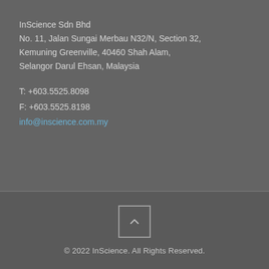InScience Sdn Bhd
No. 11, Jalan Sungai Merbau N32/N, Section 32,
Kemuning Greenville, 40460 Shah Alam,
Selangor Darul Ehsan, Malaysia
T: +603.5525.8098
F: +603.5525.8198
info@inscience.com.my
[Figure (other): Square button with upward chevron arrow icon for scrolling to top of page]
© 2022 InScience. All Rights Reserved.